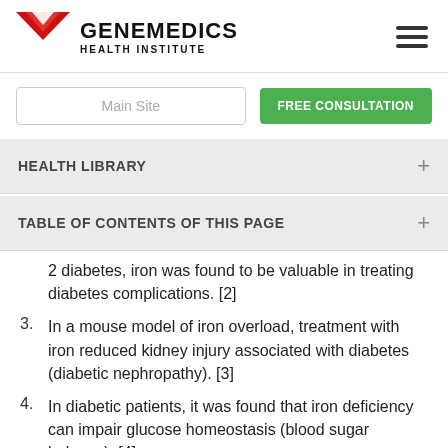[Figure (logo): Genemedics Health Institute logo with red chevron/G symbol and bold text]
Main Site
FREE CONSULTATION
HEALTH LIBRARY
TABLE OF CONTENTS OF THIS PAGE
2 diabetes, iron was found to be valuable in treating diabetes complications. [2]
3. In a mouse model of iron overload, treatment with iron reduced kidney injury associated with diabetes (diabetic nephropathy). [3]
4. In diabetic patients, it was found that iron deficiency can impair glucose homeostasis (blood sugar balance). [4]